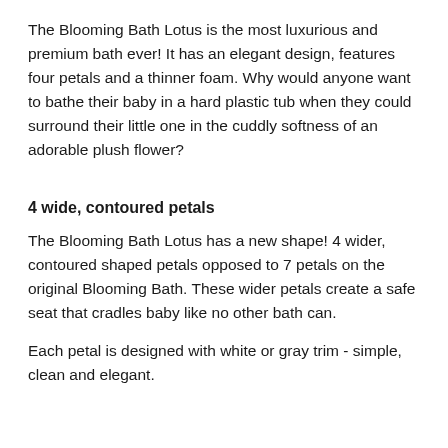The Blooming Bath Lotus is the most luxurious and premium bath ever! It has an elegant design, features four petals and a thinner foam. Why would anyone want to bathe their baby in a hard plastic tub when they could surround their little one in the cuddly softness of an adorable plush flower?
4 wide, contoured petals
The Blooming Bath Lotus has a new shape! 4 wider, contoured shaped petals opposed to 7 petals on the original Blooming Bath. These wider petals create a safe seat that cradles baby like no other bath can.
Each petal is designed with white or gray trim - simple, clean and elegant.